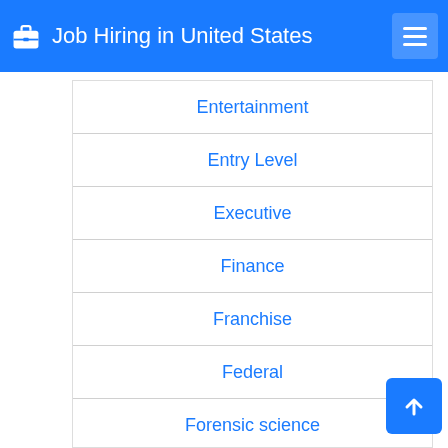Job Hiring in United States
Entertainment
Entry Level
Executive
Finance
Franchise
Federal
Forensic science
General Labor
Graphic Designer